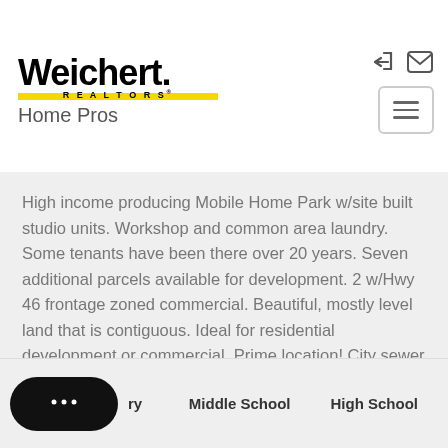[Figure (logo): Weichert Realtors Home Pros logo with yellow bar and black bold text]
High income producing Mobile Home Park w/site built studio units. Workshop and common area laundry. Some tenants have been there over 20 years. Seven additional parcels available for development. 2 w/Hwy 46 frontage zoned commercial. Beautiful, mostly level land that is contiguous. Ideal for residential development or commercial. Prime location! City sewer and natural gas available at 46. City water on property. Exceptionally maintained, financials available upon signing of NDA.
Middle School   High School